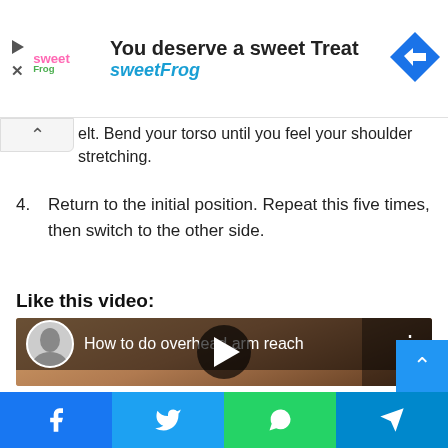[Figure (screenshot): SweetFrog advertisement banner with logo, headline 'You deserve a sweet Treat', brand name 'sweetFrog', and a blue diamond navigation arrow icon]
elt. Bend your torso until you feel your shoulder stretching.
4. Return to the initial position. Repeat this five times, then switch to the other side.
Like this video:
[Figure (screenshot): YouTube video thumbnail showing 'How to do overhead arm reach' with a woman performing the exercise in a basement gym. Play button visible in center.]
[Figure (infographic): Social share bar at bottom with Facebook, Twitter, WhatsApp, and Telegram buttons]